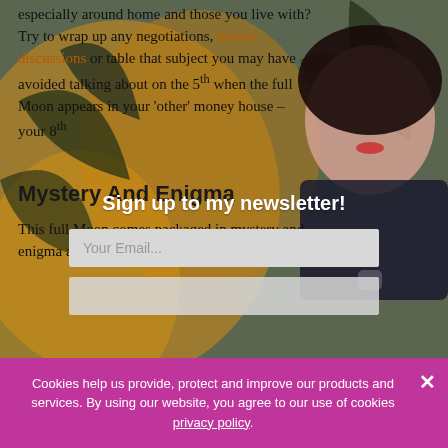[Figure (photo): Background photo of a woman with dark hair and red lips against a background of yellow/orange tropical plants, partially visible behind text overlay]
especially around home and those you live with? Try to wrap up any negotiations, money discussions or table that subject you may have avoided talking about on the 5th when the full Moon appears in your 'other' money house – your 8th
Sign up to my newsletter!
Mystery And Enigma
This full Moon comes packaged in mystery and enigma as it is an eclipse. It wants you to face a
Cookies help us provide, protect and improve our products and services. By using our website, you agree to our use of cookies privacy policy.